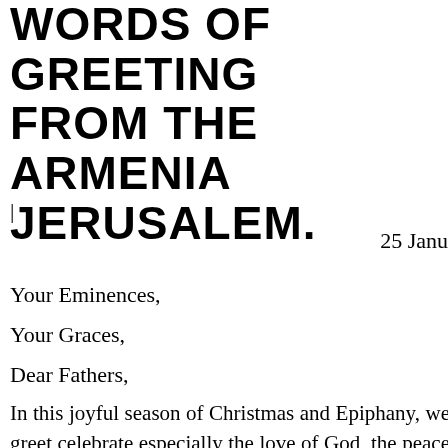WORDS OF GREETING FROM THE ARMENIAN JERUSALEM.
|
25 Janu
Your Eminences,
Your Graces,
Dear Fathers,
In this joyful season of Christmas and Epiphany, we greet celebrate especially the love of God, the peace of God, the members of the Brotherhood of the Holy Sepulcher and the communities and the Holy Places, we bear witness not only